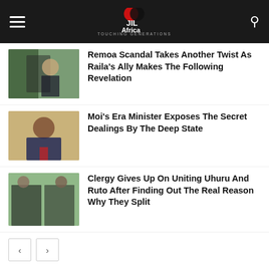JIL Africa - TOUCHING GENERATIONS
Remoa Scandal Takes Another Twist As Raila's Ally Makes The Following Revelation
Moi's Era Minister Exposes The Secret Dealings By The Deep State
Clergy Gives Up On Uniting Uhuru And Ruto After Finding Out The Real Reason Why They Split
Chat with us
LEAVE A REPLY
Comment: